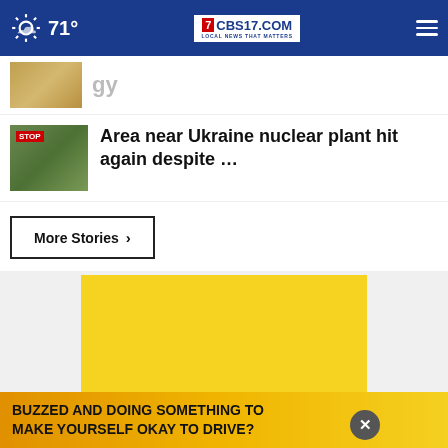71° CBS17.COM LOCAL NEWS THAT MATTERS
Area near Ukraine nuclear plant hit again despite …
More Stories ›
[Figure (other): Yellow advertisement block with close button]
BUZZED AND DOING SOMETHING TO MAKE YOURSELF OKAY TO DRIVE?